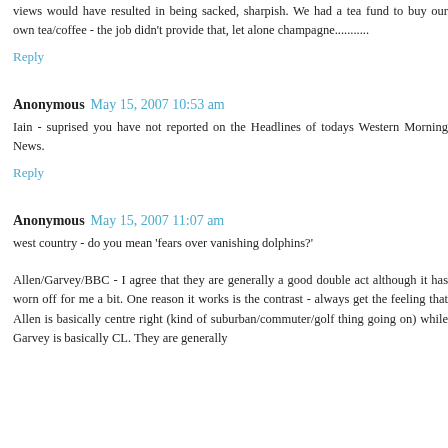views would have resulted in being sacked, sharpish. We had a tea fund to buy our own tea/coffee - the job didn't provide that, let alone champagne...........
Reply
Anonymous  May 15, 2007 10:53 am
Iain - suprised you have not reported on the Headlines of todays Western Morning News.
Reply
Anonymous  May 15, 2007 11:07 am
west country - do you mean 'fears over vanishing dolphins?'
Allen/Garvey/BBC - I agree that they are generally a good double act although it has worn off for me a bit. One reason it works is the contrast - always get the feeling that Allen is basically centre right (kind of suburban/commuter/golf thing going on) while Garvey is basically CL. They are generally